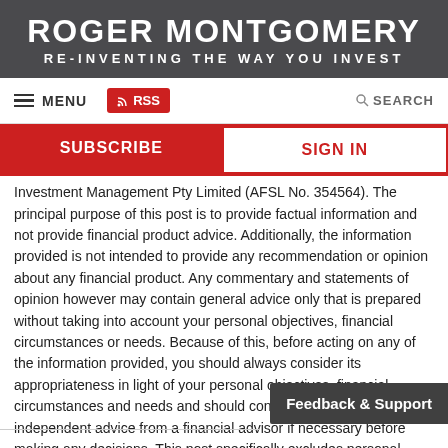ROGER MONTGOMERY
RE-INVENTING THE WAY YOU INVEST
MENU   RSS   SEARCH
SUBSCRIBE   SIGN IN
Investment Management Pty Limited (AFSL No. 354564). The principal purpose of this post is to provide factual information and not provide financial product advice. Additionally, the information provided is not intended to provide any recommendation or opinion about any financial product. Any commentary and statements of opinion however may contain general advice only that is prepared without taking into account your personal objectives, financial circumstances or needs. Because of this, before acting on any of the information provided, you should always consider its appropriateness in light of your personal objectives, financial circumstances and needs and should consider seeking independent advice from a financial advisor if necessary before making any decisions. This post specifically excludes personal advice.
Feedback & Support